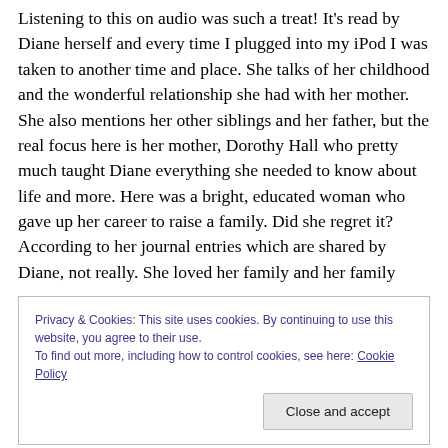Listening to this on audio was such a treat! It's read by Diane herself and every time I plugged into my iPod I was taken to another time and place. She talks of her childhood and the wonderful relationship she had with her mother. She also mentions her other siblings and her father, but the real focus here is her mother, Dorothy Hall who pretty much taught Diane everything she needed to know about life and more. Here was a bright, educated woman who gave up her career to raise a family. Did she regret it? According to her journal entries which are shared by Diane, not really. She loved her family and her family
Privacy & Cookies: This site uses cookies. By continuing to use this website, you agree to their use.
To find out more, including how to control cookies, see here: Cookie Policy
As wonderful as walking down Memory Lane can be, there